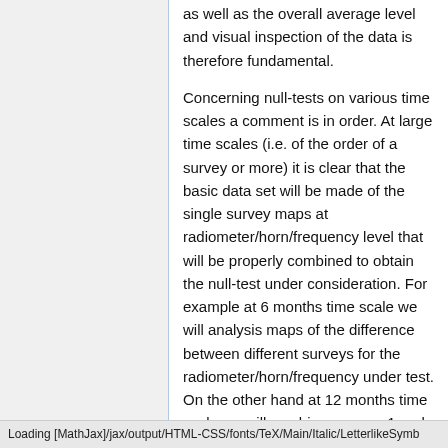as well as the overall average level and visual inspection of the data is therefore fundamental.
Concerning null-tests on various time scales a comment is in order. At large time scales (i.e. of the order of a survey or more) it is clear that the basic data set will be made of the single survey maps at radiometer/horn/frequency level that will be properly combined to obtain the null-test under consideration. For example at 6 months time scale we will analysis maps of the difference between different surveys for the radiometer/horn/frequency under test. On the other hand at 12 months time scale we will combine surveys 1 and 2 together to be compared with the same combination for surveys 3 and 4. At full-
Loading [MathJax]/jax/output/HTML-CSS/fonts/TeX/Main/Italic/LetterlikeSymb